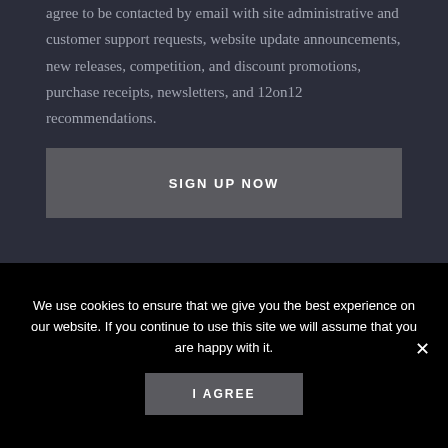agree to be contacted by email with site administrative and customer support requests, website update announcements, new releases, competition, and discount promotions, purchase receipts, newsletters, and 12on12 recommendations.
SIGN UP NOW
Sign up for more information, including upcoming releases and special offers
We use cookies to ensure that we give you the best experience on our website. If you continue to use this site we will assume that you are happy with it.
I AGREE